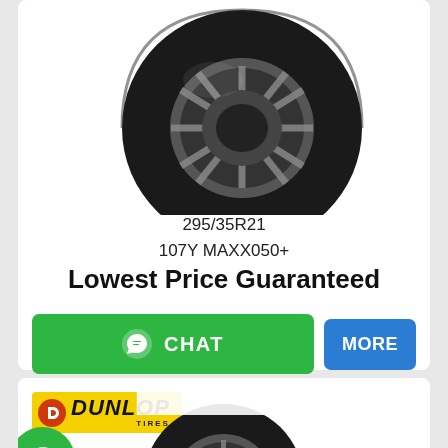[Figure (photo): Tire viewed from angle showing tread and rim, top portion of product image]
295/35R21
107Y MAXX050+
Lowest Price Guaranteed
[Figure (other): Green CHAT button with WhatsApp phone icon and blue MORE button]
[Figure (logo): Dunlop Tires logo on yellow background]
[Figure (photo): Dunlop tire product image, partially visible at bottom of page]